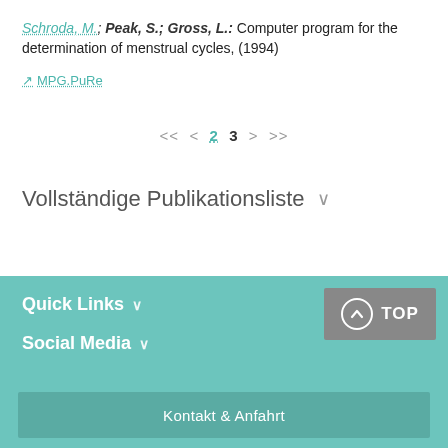Schroda, M.; Peak, S.; Gross, L.: Computer program for the determination of menstrual cycles, (1994)
↗ MPG.PuRe
<< < 2 3 > >>
Vollständige Publikationsliste ∨
Quick Links ∨
Social Media ∨
Kontakt & Anfahrt
TOP